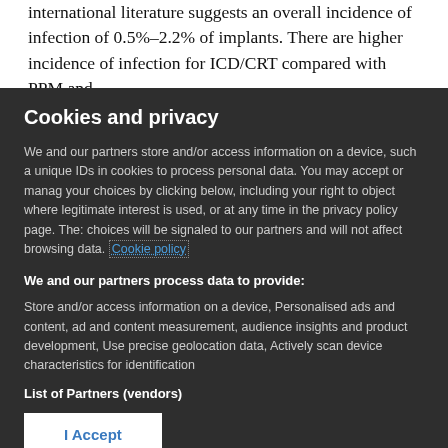international literature suggests an overall incidence of infection of 0.5%–2.2% of implants. There are higher incidence of infection for ICD/CRT compared with PPM and
Cookies and privacy
We and our partners store and/or access information on a device, such a unique IDs in cookies to process personal data. You may accept or manage your choices by clicking below, including your right to object where legitimate interest is used, or at any time in the privacy policy page. These choices will be signaled to our partners and will not affect browsing data. Cookie policy
We and our partners process data to provide:
Store and/or access information on a device, Personalised ads and content, ad and content measurement, audience insights and product development, Use precise geolocation data, Actively scan device characteristics for identification
List of Partners (vendors)